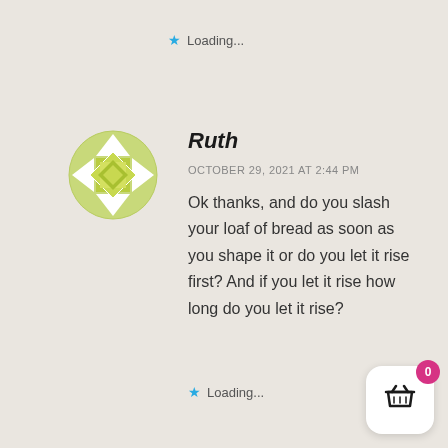Loading...
[Figure (illustration): Circular avatar icon with yellow-green geometric diamond/star pattern on white and yellow-green background]
Ruth
OCTOBER 29, 2021 AT 2:44 PM
Ok thanks, and do you slash your loaf of bread as soon as you shape it or do you let it rise first? And if you let it rise how long do you let it rise?
Loading...
[Figure (illustration): Shopping cart widget button with magenta badge showing 0, white rounded square background]